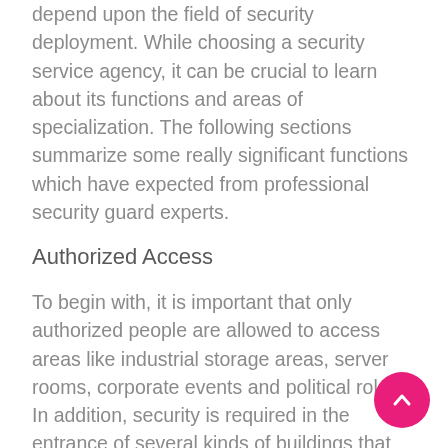depend upon the field of security deployment. While choosing a security service agency, it can be crucial to learn about its functions and areas of specialization. The following sections summarize some really significant functions which have expected from professional security guard experts.
Authorized Access
To begin with, it is important that only authorized people are allowed to access areas like industrial storage areas, server rooms, corporate events and political roles. In addition, security is required in the entrance of several kinds of buildings that could also include residential facilities. The agencies offering security guard services employ guards and all equipments to prevent unauthorized access such places.